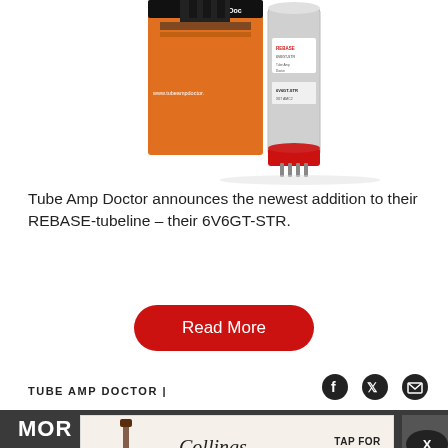[Figure (photo): Tube Amp Doctor product photo showing orange TAD box packaging alongside a 6V6GT-STR vacuum tube with red base against white background]
Tube Amp Doctor announces the newest addition to their REBASE-tubeline – their 6V6GT-STR.
[Figure (other): Red rounded rectangle Read More button]
[Figure (other): Social share icons: Facebook, Twitter, Email]
TUBE AMP DOCTOR  |
[Figure (other): Collings Guitars advertisement banner with acoustic guitar image and text TAP FOR CUSTOM GALLERY, Austin Texas]
MOR R